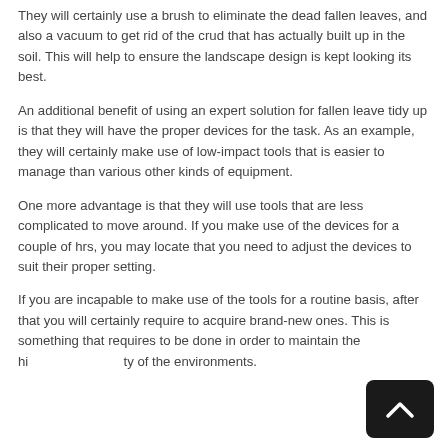They will certainly use a brush to eliminate the dead fallen leaves, and also a vacuum to get rid of the crud that has actually built up in the soil. This will help to ensure the landscape design is kept looking its best.
An additional benefit of using an expert solution for fallen leave tidy up is that they will have the proper devices for the task. As an example, they will certainly make use of low-impact tools that is easier to manage than various other kinds of equipment.
One more advantage is that they will use tools that are less complicated to move around. If you make use of the devices for a couple of hrs, you may locate that you need to adjust the devices to suit their proper setting.
If you are incapable to make use of the tools for a routine basis, after that you will certainly require to acquire brand-new ones. This is something that requires to be done in order to maintain the hi…ty of the environments.